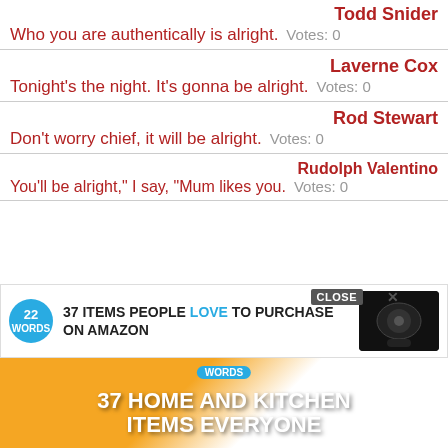Who you are authentically is alright. Votes: 0 — Todd Snider
Tonight's the night. It's gonna be alright. Votes: 0 — Laverne Cox
Don't worry chief, it will be alright. Votes: 0 — Rod Stewart
You'll be alright," I say, "Mum likes you. Votes: 0 — Rudolph Valentino
[Figure (screenshot): Advertisement banner: 22 Words - 37 Items People Love to Purchase on Amazon, with close button and product image of wireless earbuds. Below: 37 Home and Kitchen Items Everyone text overlay on image.]